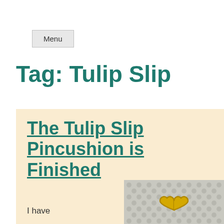Menu
Tag: Tulip Slip
The Tulip Slip Pincushion is Finished
I have
[Figure (photo): Close-up photo of a grey knitted or crocheted fabric with a gold decorative element (heart or bow shape) on top.]